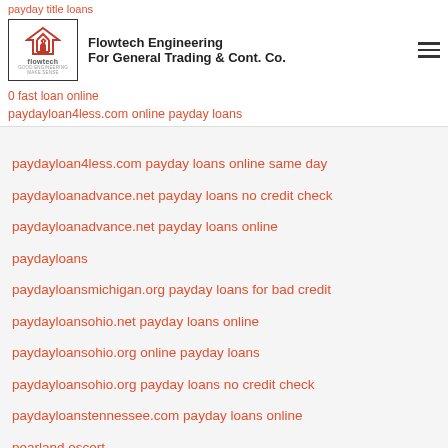payday title loans
[Figure (logo): Flowtech Engineering logo with red double-arrow house icon and 'flowtech' text below]
Flowtech Engineering For General Trading & Cont. Co.
0 fast loan online
paydayloan4less.com online payday loans
paydayloan4less.com payday loans online same day
paydayloanadvance.net payday loans no credit check
paydayloanadvance.net payday loans online
paydayloans
paydayloansmichigan.org payday loans for bad credit
paydayloansohio.net payday loans online
paydayloansohio.org online payday loans
paydayloansohio.org payday loans no credit check
paydayloanstennessee.com payday loans online
pearland escort
peoria escort